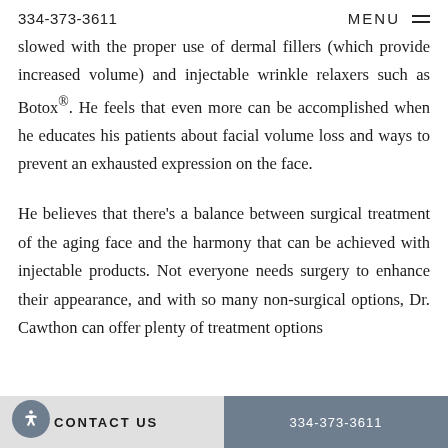334-373-3611   MENU
slowed with the proper use of dermal fillers (which provide increased volume) and injectable wrinkle relaxers such as Botox®. He feels that even more can be accomplished when he educates his patients about facial volume loss and ways to prevent an exhausted expression on the face.
He believes that there's a balance between surgical treatment of the aging face and the harmony that can be achieved with injectable products. Not everyone needs surgery to enhance their appearance, and with so many non-surgical options, Dr. Cawthon can offer plenty of treatment options
CONTACT US   334-373-3611